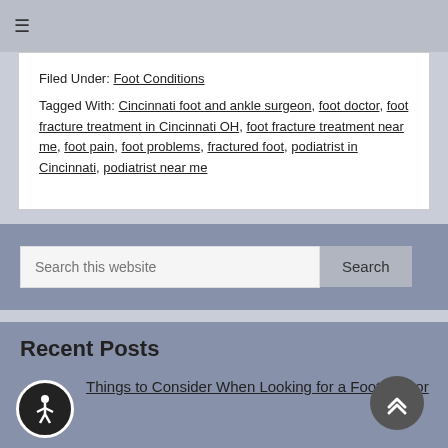≡
Filed Under: Foot Conditions
Tagged With: Cincinnati foot and ankle surgeon, foot doctor, foot fracture treatment in Cincinnati OH, foot fracture treatment near me, foot pain, foot problems, fractured foot, podiatrist in Cincinnati, podiatrist near me
Search this website
Recent Posts
Things to Consider When Looking for a Foot Doctor